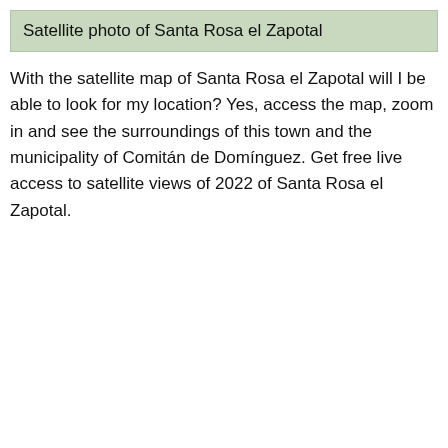Satellite photo of Santa Rosa el Zapotal
With the satellite map of Santa Rosa el Zapotal will I be able to look for my location? Yes, access the map, zoom in and see the surroundings of this town and the municipality of Comitán de Domínguez. Get free live access to satellite views of 2022 of Santa Rosa el Zapotal.